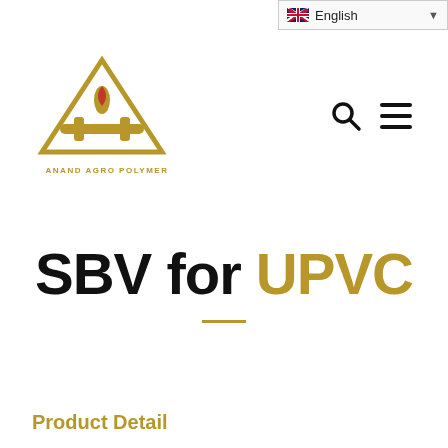[Figure (logo): Anand Agro Polymer company logo — a golden triangle with a flame/leaf inside and horizontal bar, text ANAND AGRO POLYMER below]
SBV for UPVC
Product Detail